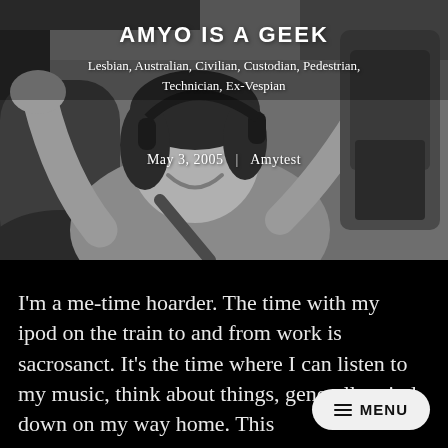[Figure (photo): Black and white photo of a woman wearing headphones, sitting in what appears to be a vehicle or airplane seat, smiling and waving with both hands raised.]
AMYO IS A GEEK
Lesbian, Australian, Civilian, Custodian, Pedestrian, Technician, Ex-Vespian
May 3, 2005  |  Amytest
I'm a me-time hoarder. The time with my ipod on the train to and from work is sacrosanct. It's the time where I can listen to my music, think about things, generally wind down on my way home. This